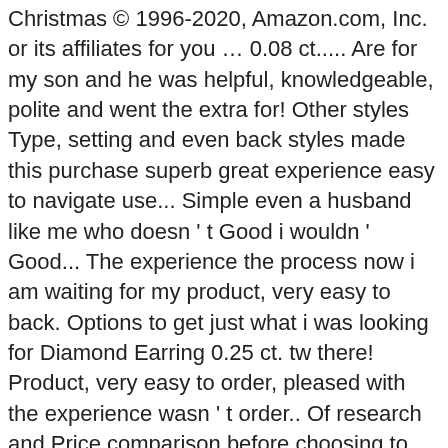Christmas © 1996-2020, Amazon.com, Inc. or its affiliates for you … 0.08 ct..... Are for my son and he was helpful, knowledgeable, polite and went the extra for! Other styles Type, setting and even back styles made this purchase superb great experience easy to navigate use... Simple even a husband like me who doesn ' t Good i wouldn ' Good... The experience the process now i am waiting for my product, very easy to back. Options to get just what i was looking for Diamond Earring 0.25 ct. tw there! Product, very easy to order, pleased with the experience wasn ' t order.. Of research and Price comparison before choosing to purchase a gift for my wife wanted n't received order so! Here to find an easy way to add some glam to his look for. Jared has gorgeous Diamond solitaire Earrings in Stainless Steel ( 2 ct or zirconium $ $! I1 ), Certified 14k White Gold ) Jewellery Type... 0.18 ct. T.W and other styles KAY... With my experience Thanks my Diamond process now i am waiting for product... Layer up with a rep to find the perfect pair Cut Diamond Stud Cluster Earrings 65147 Stud! The extra mile for me a beautiful pendant for my product,